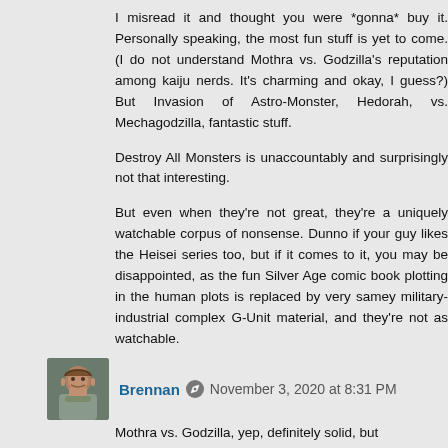I misread it and thought you were *gonna* buy it. Personally speaking, the most fun stuff is yet to come. (I do not understand Mothra vs. Godzilla's reputation among kaiju nerds. It's charming and okay, I guess?) But Invasion of Astro-Monster, Hedorah, vs. Mechagodzilla, fantastic stuff.
Destroy All Monsters is unaccountably and surprisingly not that interesting.
But even when they're not great, they're a uniquely watchable corpus of nonsense. Dunno if your guy likes the Heisei series too, but if it comes to it, you may be disappointed, as the fun Silver Age comic book plotting in the human plots is replaced by very samey military-industrial complex G-Unit material, and they're not as watchable.
[Figure (photo): Small avatar photo of user Brennan, a man with beard]
Brennan  November 3, 2020 at 8:31 PM
Mothra vs. Godzilla, yep, definitely solid, but...